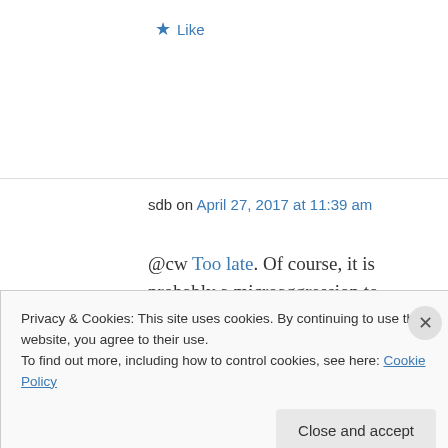★ Like
sdb on April 27, 2017 at 11:39 am
@cw Too late. Of course, it is probably a microaggression to assume the normality of Western Orthosexuals (it otherizes the
Privacy & Cookies: This site uses cookies. By continuing to use this website, you agree to their use.
To find out more, including how to control cookies, see here: Cookie Policy
Close and accept